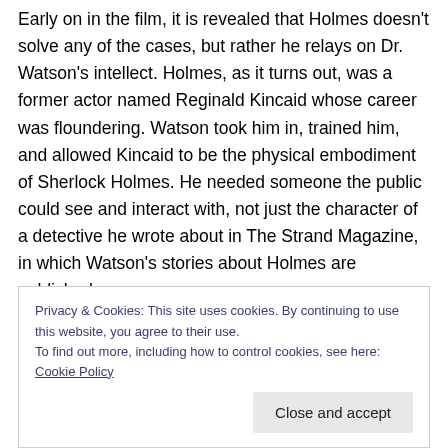Early on in the film, it is revealed that Holmes doesn't solve any of the cases, but rather he relays on Dr. Watson's intellect. Holmes, as it turns out, was a former actor named Reginald Kincaid whose career was floundering. Watson took him in, trained him, and allowed Kincaid to be the physical embodiment of Sherlock Holmes. He needed someone the public could see and interact with, not just the character of a detective he wrote about in The Strand Magazine, in which Watson's stories about Holmes are published.
Privacy & Cookies: This site uses cookies. By continuing to use this website, you agree to their use. To find out more, including how to control cookies, see here: Cookie Policy